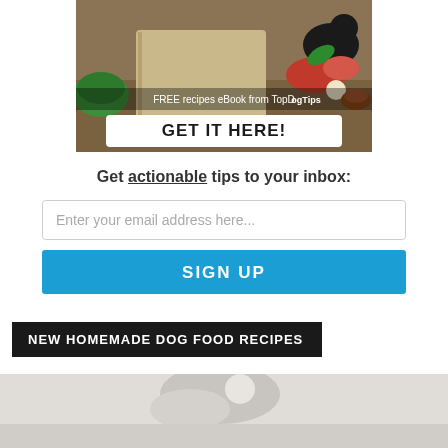[Figure (photo): Promotional banner image for a free dog food recipes eBook from TopDogTips, showing a book, dog food ingredients (meat, vegetables, spices), a green dog bowl, and a dog in the background. Text overlay reads 'FREE recipes eBook from TopDogTips' with a white button saying 'GET IT HERE!']
Get actionable tips to your inbox:
[Figure (other): Email input field with placeholder text 'Enter your email address here...']
[Figure (other): Blue SIGN UP button]
NEW HOMEMADE DOG FOOD RECIPES
[Figure (photo): Partial photo of dog food or ingredients on a light background, cropped at bottom of page]